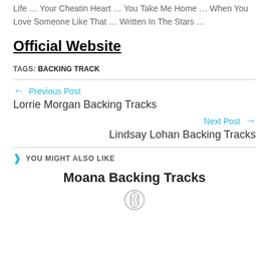Life  ...  Your Cheatin Heart  ...  You Take Me Home  ...  When You Love Someone Like That  ...  Written In The Stars  ...
Official Website
TAGS: BACKING TRACK
← Previous Post
Lorrie Morgan Backing Tracks
Next Post →
Lindsay Lohan Backing Tracks
YOU MIGHT ALSO LIKE
Moana Backing Tracks